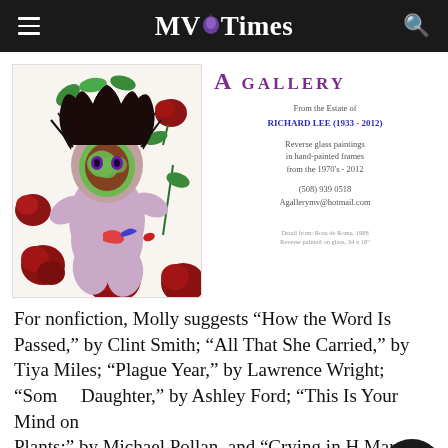MV Times
[Figure (illustration): Reverse glass painting of a figure with a green and red face mask, dark hair, surrounded by roses and roses stems on white background. Detail from Rosa de Roma, 1988, Reverse painted on glass, 34x18 inches.]
A GALLERY
From the Estate of RICHARD LEE (1933 - 2012)
Reverse glass paintings in hand-painted frames from the 1970's - 2012
(508) 939 0518
Agallerymv@hotmail.com
Detail from: Rosa de Roma, 1988
Reverse painted on glass, 34 x 18"
For nonfiction, Molly suggests “How the Word Is Passed,” by Clint Smith; “All That She Carried,” by Tiya Miles; “Plague Year,” by Lawrence Wright; “Som… Daughter,” by Ashley Ford; “This Is Your Mind on Plants;” by Michael Pollan, and “Crying in H Mart;” by